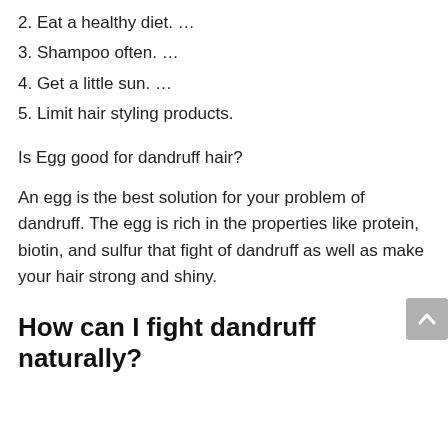2. Eat a healthy diet. …
3. Shampoo often. …
4. Get a little sun. …
5. Limit hair styling products.
Is Egg good for dandruff hair?
An egg is the best solution for your problem of dandruff. The egg is rich in the properties like protein, biotin, and sulfur that fight of dandruff as well as make your hair strong and shiny.
How can I fight dandruff naturally?